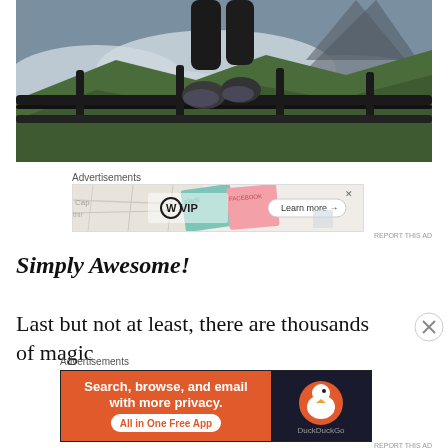[Figure (photo): Person sitting on a metal railing at a mountain viewpoint, with clouds and green slopes in the background. Legs in black pants and hiking shoes visible.]
Advertisements
[Figure (screenshot): Advertisement banner for WordPress VIP showing social media platform logos (Slack, Facebook) and a 'Learn more →' button.]
REPORT THIS AD
Simply Awesome!
Last but not at least, there are thousands of magic
Advertisements
[Figure (screenshot): DuckDuckGo advertisement banner: orange background with white text 'Search, browse, and email with more privacy. All in One Free App' and DuckDuckGo duck logo on dark right panel.]
REPORT THIS AD